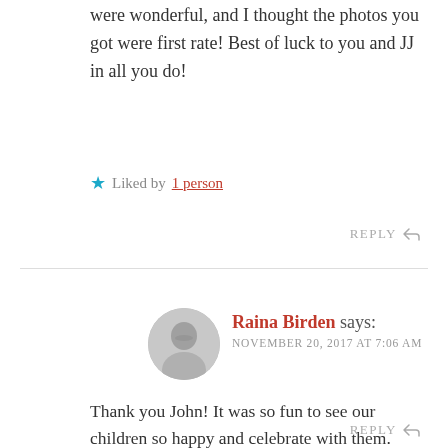were wonderful, and I thought the photos you got were first rate! Best of luck to you and JJ in all you do!
Liked by 1 person
REPLY
Raina Birden says: NOVEMBER 20, 2017 AT 7:06 AM
Thank you John! It was so fun to see our children so happy and celebrate with them.
Like
REPLY